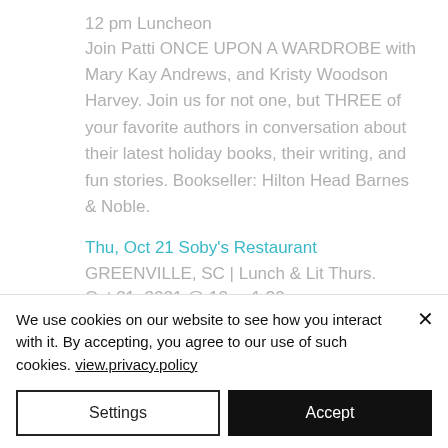12 pm Luncheon
Join Patti ONCE UPON A WARDROBE with Mary Kay Andrews, and Kristy Woodson Harvey. Join us for not one, but THREE of your favorite authors in conversation about their latest holiday books, their writing, and fun stories. Bookseller: Hilton Head Barnes & Noble.
Thu, Oct 21 Soby's Restaurant
GREENVILLE, SC | Lunch & Lit Thurs.
Oct 21, 2021 @ 12 ... 1:30
We use cookies on our website to see how you interact with it. By accepting, you agree to our use of such cookies. view.privacy.policy